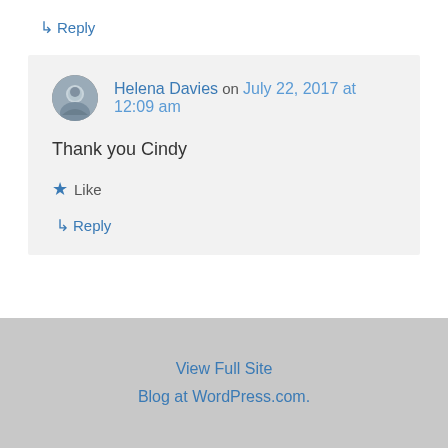↳ Reply
Helena Davies on July 22, 2017 at 12:09 am
Thank you Cindy
★ Like
↳ Reply
View Full Site
Blog at WordPress.com.